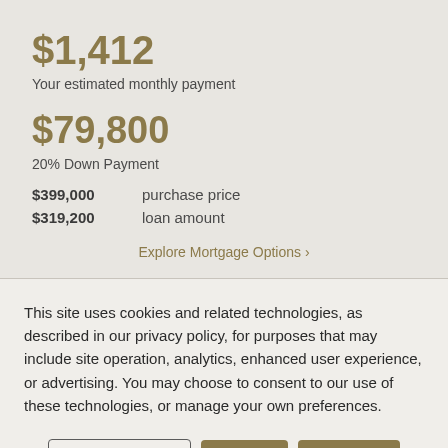$1,412
Your estimated monthly payment
$79,800
20% Down Payment
$399,000   purchase price
$319,200   loan amount
Explore Mortgage Options ›
This site uses cookies and related technologies, as described in our privacy policy, for purposes that may include site operation, analytics, enhanced user experience, or advertising. You may choose to consent to our use of these technologies, or manage your own preferences.
Manage Settings
Accept
Decline All